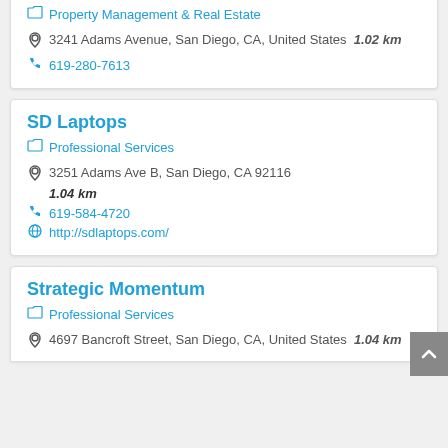Property Management & Real Estate
3241 Adams Avenue, San Diego, CA, United States  1.02 km
619-280-7613
SD Laptops
Professional Services
3251 Adams Ave B, San Diego, CA 92116  1.04 km
619-584-4720
http://sdlaptops.com/
Strategic Momentum
Professional Services
4697 Bancroft Street, San Diego, CA, United States  1.04 km